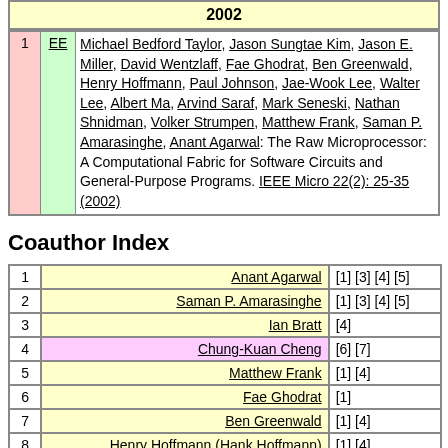| 2002 |
| --- |
| # | EE | Reference |
| --- | --- | --- |
| 1 | EE | Michael Bedford Taylor, Jason Sungtae Kim, Jason E. Miller, David Wentzlaff, Fae Ghodrat, Ben Greenwald, Henry Hoffmann, Paul Johnson, Jae-Wook Lee, Walter Lee, Albert Ma, Arvind Saraf, Mark Seneski, Nathan Shnidman, Volker Strumpen, Matthew Frank, Saman P. Amarasinghe, Anant Agarwal: The Raw Microprocessor: A Computational Fabric for Software Circuits and General-Purpose Programs. IEEE Micro 22(2): 25-35 (2002) |
Coauthor Index
| # | Name | Refs |
| --- | --- | --- |
| 1 | Anant Agarwal | [1] [3] [4] [5] |
| 2 | Saman P. Amarasinghe | [1] [3] [4] [5] |
| 3 | Ian Bratt | [4] |
| 4 | Chung-Kuan Cheng | [6] [7] |
| 5 | Matthew Frank | [1] [4] |
| 6 | Fae Ghodrat | [1] |
| 7 | Ben Greenwald | [1] [4] |
| 8 | Henry Hoffmann (Hank Hoffmann) | [1] [4] |